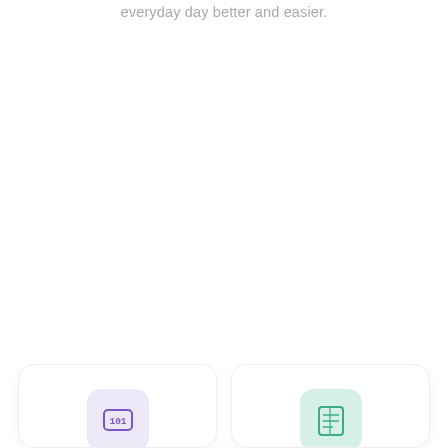everyday day better and easier.
[Figure (illustration): Card with purple rounded square icon showing a table/database symbol (101 pattern in a rounded rectangle), on a light purple background]
[Figure (illustration): Card with green rounded square icon showing a spreadsheet/billing document symbol, on a light green background]